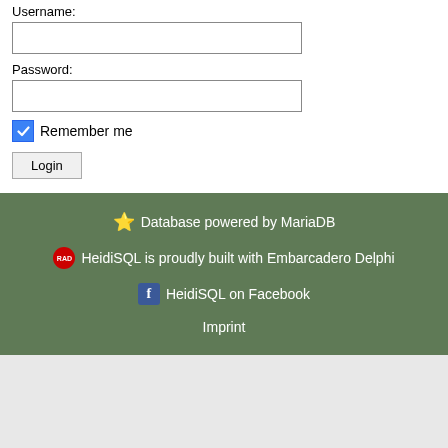Username:
Password:
Remember me
Login
⭐ Database powered by MariaDB
RAD HeidiSQL is proudly built with Embarcadero Delphi
f HeidiSQL on Facebook
Imprint